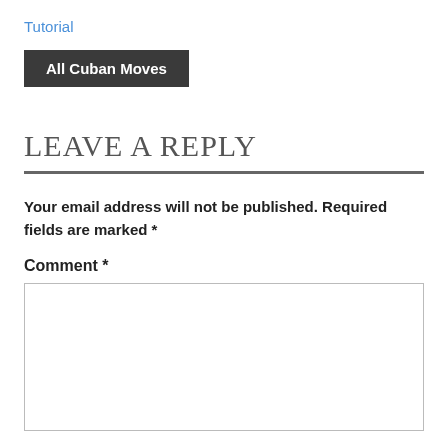Tutorial
All Cuban Moves
LEAVE A REPLY
Your email address will not be published. Required fields are marked *
Comment *